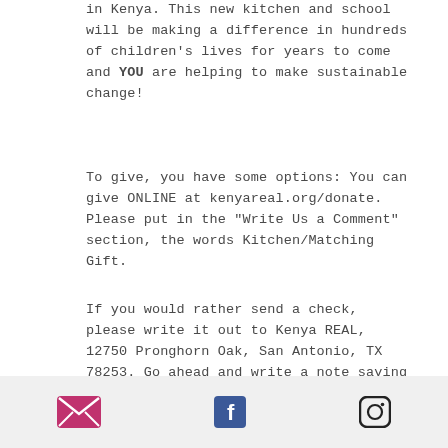in Kenya. This new kitchen and school will be making a difference in hundreds of children's lives for years to come and YOU are helping to make sustainable change!
To give, you have some options: You can give ONLINE at kenyareal.org/donate. Please put in the "Write Us a Comment" section, the words Kitchen/Matching Gift.
If you would rather send a check, please write it out to Kenya REAL, 12750 Pronghorn Oak, San Antonio, TX 78253. Go ahead and write a note saying Kitchen/Matching Gift.
[Figure (other): Footer bar with three social media icons: email (envelope), Facebook (f logo), Instagram (camera outline)]